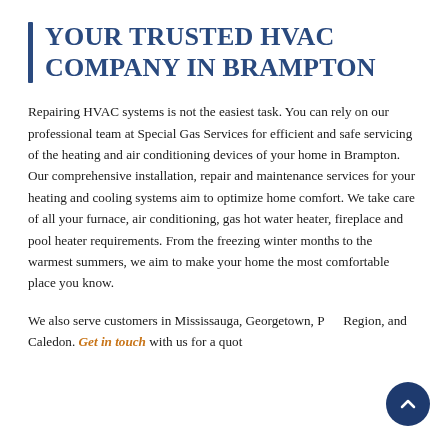YOUR TRUSTED HVAC COMPANY IN BRAMPTON
Repairing HVAC systems is not the easiest task. You can rely on our professional team at Special Gas Services for efficient and safe servicing of the heating and air conditioning devices of your home in Brampton. Our comprehensive installation, repair and maintenance services for your heating and cooling systems aim to optimize home comfort. We take care of all your furnace, air conditioning, gas hot water heater, fireplace and pool heater requirements. From the freezing winter months to the warmest summers, we aim to make your home the most comfortable place you know.
We also serve customers in Mississauga, Georgetown, Peel Region, and Caledon. Get in touch with us for a quote